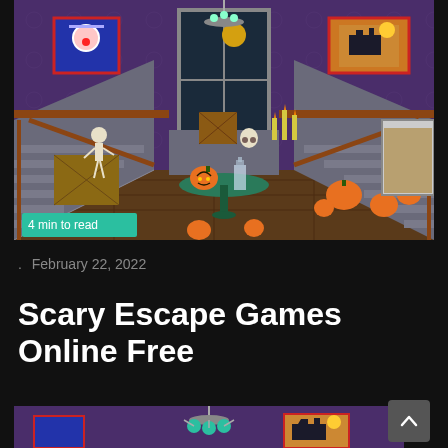[Figure (screenshot): Halloween escape room game screenshot showing a haunted house interior with stairs, pumpkins, skeleton, candles, a round table with a pumpkin and bottle, creepy wallpaper, and framed pictures. A teal badge reads '4 min to read'.]
. February 22, 2022
Scary Escape Games Online Free
[Figure (screenshot): Partial bottom screenshot of the same Halloween escape room game showing the top portion with chandelier and framed pictures. A scroll-up arrow button is visible in the bottom right.]